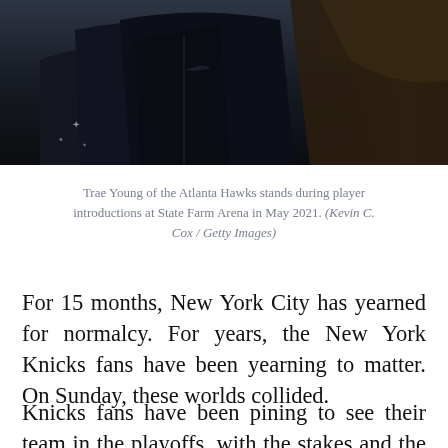[Figure (photo): Trae Young of the Atlanta Hawks in a dark Nike jacket stands during player introductions, stars visible on the sleeve, dark arena background]
Trae Young of the Atlanta Hawks stands during player introductions at State Farm Arena in May 2021. (Kevin C. Cox / Getty Images)
For 15 months, New York City has yearned for normalcy. For years, the New York Knicks fans have been yearning to matter. On Sunday, these worlds collided.
Knicks fans have been pining to see their team in the playoffs, with the stakes and the tension sending steam up into the rafters of